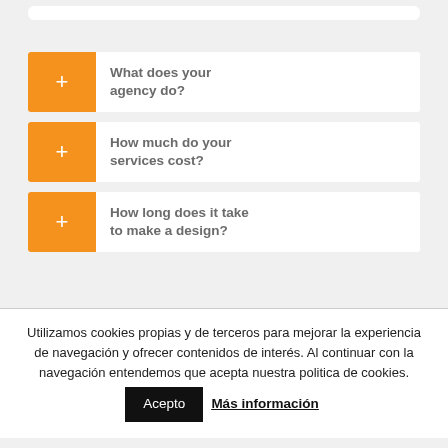[Figure (screenshot): Partial top UI element — white rounded bar visible at top]
What does your agency do?
How much do your services cost?
How long does it take to make a design?
Utilizamos cookies propias y de terceros para mejorar la experiencia de navegación y ofrecer contenidos de interés. Al continuar con la navegación entendemos que acepta nuestra politica de cookies.
Acepto
Más información